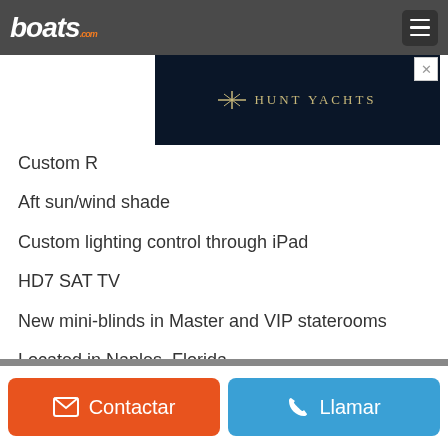boats.com
[Figure (screenshot): Hunt Yachts advertisement banner with dark navy background and gold text]
Custom R
Aft sun/wind shade
Custom lighting control through iPad
HD7 SAT TV
New mini-blinds in Master and VIP staterooms
Located in Naples, Florida.
Más...
Contactar   Llamar